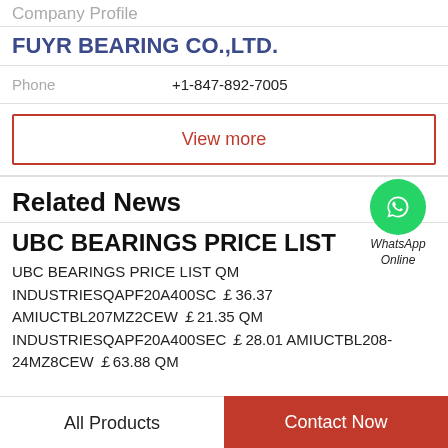Company Profile
FUYR BEARING CO.,LTD.
Phone   +1-847-892-7005
View more
Related News
[Figure (logo): WhatsApp Online green circle icon with phone handset, label 'WhatsApp Online']
UBC BEARINGS PRICE LIST
UBC BEARINGS PRICE LIST QM INDUSTRIESQAPF20A400SC ￡36.37 AMIUCTBL207MZ2CEW ￡21.35 QM INDUSTRIESQAPF20A400SEC ￡28.01 AMIUCTBL208-24MZ8CEW ￡63.88 QM
All Products   Contact Now